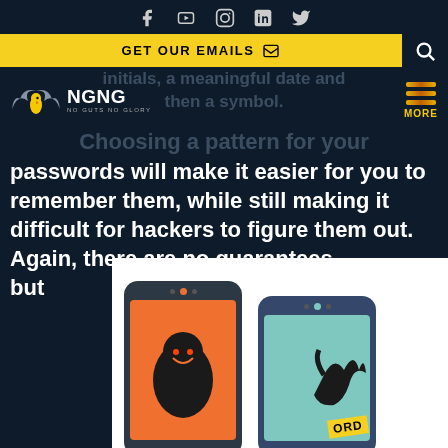Social media icons: Facebook, YouTube, Instagram, LinkedIn, Twitter
GET OUR EMAILS
[Figure (logo): NGNG (No Guts No Glory) logo with eagle wings and yellow bird]
initials, a meaningful date and then a symbol. Choosing a pattern for your passwords will make it easier for you to remember them, while still making it difficult for hackers to figure them out. Again, there are no guarantees, but
[Figure (illustration): Two smartphones side by side - left phone has orange screen with hacker figure, right phone has teal screen with a hand and text ORD]